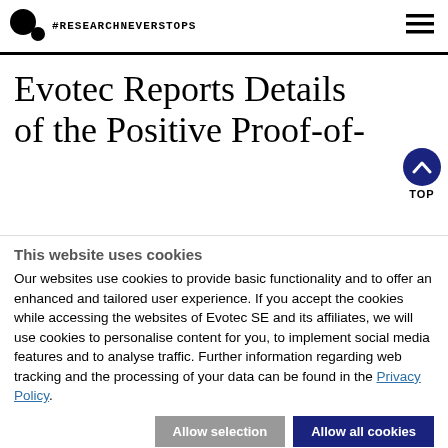#RESEARCHNEVERSTOPS
Evotec Reports Details of the Positive Proof-of-
This website uses cookies
Our websites use cookies to provide basic functionality and to offer an enhanced and tailored user experience. If you accept the cookies while accessing the websites of Evotec SE and its affiliates, we will use cookies to personalise content for you, to implement social media features and to analyse traffic. Further information regarding web tracking and the processing of your data can be found in the Privacy Policy.
Allow selection | Allow all cookies
Necessary  Preferences  Statistics  Marketing  Cookie settings